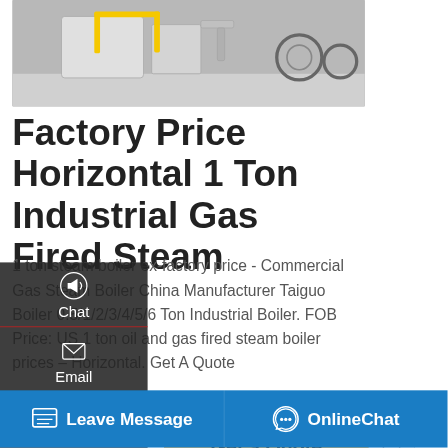[Figure (photo): Partial view of industrial gas fired steam boiler equipment with yellow handle/frame, grey floor background]
Factory Price Horizontal 1 Ton Industrial Gas Fired Steam
1 ton steam boiler ex-factory price - Commercial Gas Steam Boiler China Manufacturer Taiguo Boiler 0.5/1/2/3/4/5/6 Ton Industrial Boiler. FOB Price: US 1 ton oil and gas fired steam boiler prices – Horizontal. Get A Quote
[Figure (screenshot): Left sidebar overlay with dark background showing Chat (megaphone icon), Email (envelope icon), and Contact (chat bubble icon) items with red underlines]
[Figure (screenshot): Get a Quote button in golden/amber color]
[Figure (screenshot): Scroll up arrow button on right side]
[Figure (screenshot): Save Stickers on WhatsApp purple gradient banner with phone and emoji icons]
[Figure (photo): Bottom right partial product image showing industrial boiler components]
Leave Message   OnlineChat